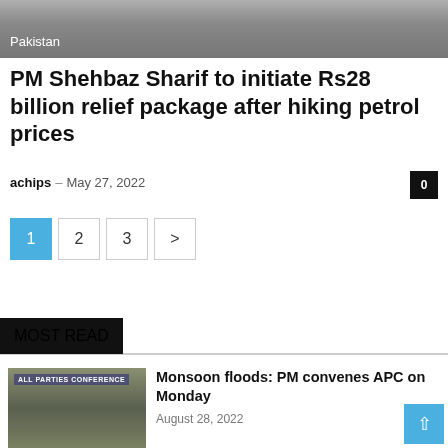[Figure (photo): Person in light blue shirt and dark vest, photo partially cropped at top of page with Pakistan label overlay]
Pakistan
PM Shehbaz Sharif to initiate Rs28 billion relief package after hiking petrol prices
achips – May 27, 2022
1
2
3
>
MOST READ
[Figure (photo): All Parties Conference banner with people seated at a conference table]
Monsoon floods: PM convenes APC on Monday
August 28, 2022